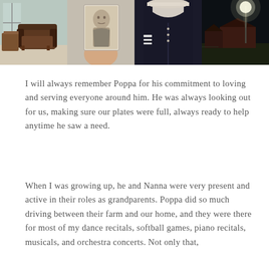[Figure (photo): Four photos in a horizontal strip: (1) a leather armchair in a living room, (2) a hand holding an old black-and-white portrait photograph, (3) a close-up of a dark navy/military jacket with white stripe details, (4) a night scene of farm buildings with a bright light on a pole.]
I will always remember Poppa for his commitment to loving and serving everyone around him. He was always looking out for us, making sure our plates were full, always ready to help anytime he saw a need.
When I was growing up, he and Nanna were very present and active in their roles as grandparents. Poppa did so much driving between their farm and our home, and they were there for most of my dance recitals, softball games, piano recitals, musicals, and orchestra concerts. Not only that,